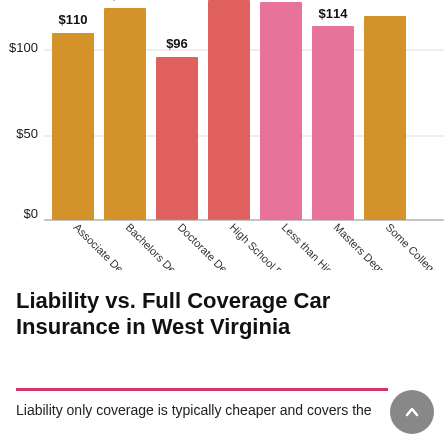[Figure (bar-chart): ]
Liability vs. Full Coverage Car Insurance in West Virginia
Liability only coverage is typically cheaper and covers the